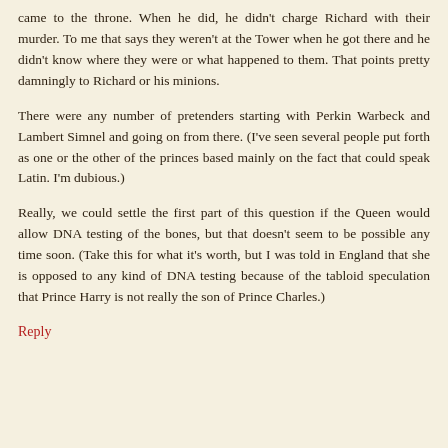came to the throne. When he did, he didn't charge Richard with their murder. To me that says they weren't at the Tower when he got there and he didn't know where they were or what happened to them. That points pretty damningly to Richard or his minions.
There were any number of pretenders starting with Perkin Warbeck and Lambert Simnel and going on from there. (I've seen several people put forth as one or the other of the princes based mainly on the fact that could speak Latin. I'm dubious.)
Really, we could settle the first part of this question if the Queen would allow DNA testing of the bones, but that doesn't seem to be possible any time soon. (Take this for what it's worth, but I was told in England that she is opposed to any kind of DNA testing because of the tabloid speculation that Prince Harry is not really the son of Prince Charles.)
Reply